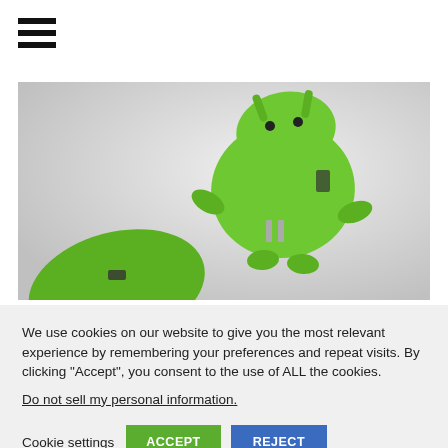[Figure (other): Hamburger menu icon (three horizontal lines)]
[Figure (photo): Photo of green Android robot figurine USB charger/adapter on white background]
We use cookies on our website to give you the most relevant experience by remembering your preferences and repeat visits. By clicking “Accept”, you consent to the use of ALL the cookies.
Do not sell my personal information.
Cookie settings   ACCEPT   REJECT